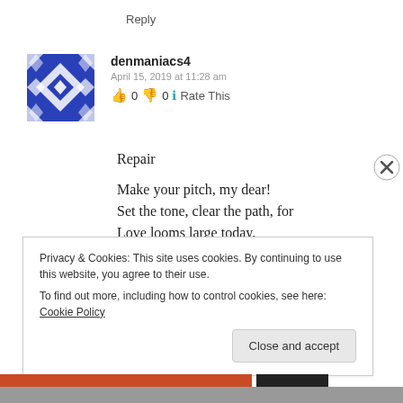Reply
[Figure (illustration): Blue and white geometric/quilt pattern avatar icon for user denmaniacs4]
denmaniacs4
April 15, 2019 at 11:28 am
👍 0 👎 0 ℹ️ Rate This
Repair

Make your pitch, my dear!
Set the tone, clear the path, for
Love looms large today.
Privacy & Cookies: This site uses cookies. By continuing to use this website, you agree to their use.
To find out more, including how to control cookies, see here: Cookie Policy
Close and accept